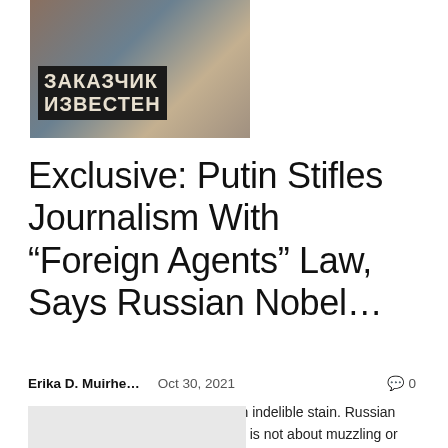[Figure (photo): Photo of a newspaper or magazine with Cyrillic text 'ЗАКАЗЧИК ИЗВЕСТЕН' on the cover, showing a woman's face on the publication]
Exclusive: Putin Stifles Journalism With “Foreign Agents” Law, Says Russian Nobel…
Erika D. Muirhe…   Oct 30, 2021   💬 0
Independent journalists see it as an indelible stain. Russian President Vladimir Putin insists this is not about muzzling or censoring, but simply informing readers and viewers that some of the media they consume is funded from…